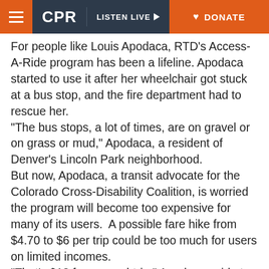CPR | LISTEN LIVE | DONATE
For people like Louis Apodaca, RTD's Access-A-Ride program has been a lifeline. Apodaca started to use it after her wheelchair got stuck at a bus stop, and the fire department had to rescue her.
"The bus stops, a lot of times, are on gravel or on grass or mud," Apodaca, a resident of Denver's Lincoln Park neighborhood.
But now, Apodaca, a transit advocate for the Colorado Cross-Disability Coalition, is worried the program will become too expensive for many of its users.  A possible fare hike from $4.70 to $6 per trip could be too much for users on limited incomes.
"That's $12 for a round-trip," Apodaca said at